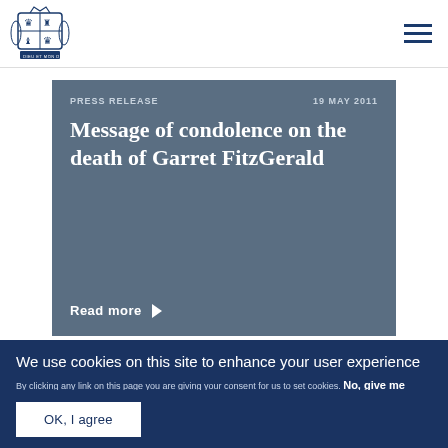[Figure (logo): UK Government royal coat of arms logo in blue]
PRESS RELEASE
19 MAY 2011
Message of condolence on the death of Garret FitzGerald
Read more ▶
We use cookies on this site to enhance your user experience
By clicking any link on this page you are giving your consent for us to set cookies. No, give me more info
OK, I agree